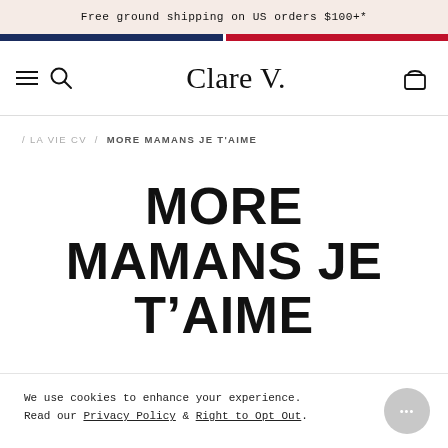Free ground shipping on US orders $100+*
Clare V.
/ LA VIE CV / MORE MAMANS JE T'AIME
MORE MAMANS JE T'AIME
We use cookies to enhance your experience. Read our Privacy Policy & Right to Opt Out.